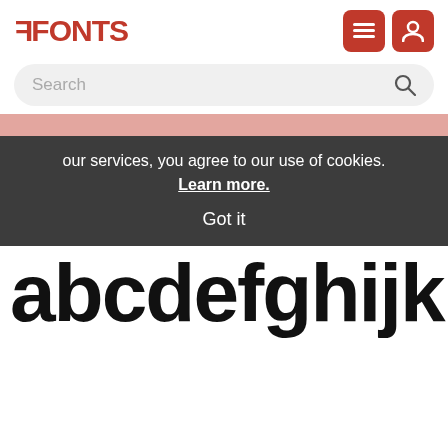[Figure (logo): FFONTS logo in red bold text with a double-F prefix symbol, top left header]
[Figure (illustration): Two red rounded square icon buttons (hamburger menu and user/account) in top right header]
Search
our services, you agree to our use of cookies. Learn more. Got it
abcdefghijklm